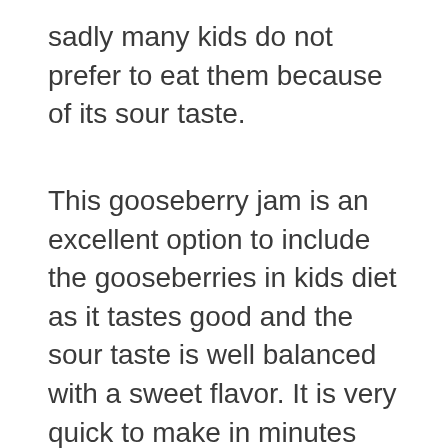sadly many kids do not prefer to eat them because of its sour taste.
This gooseberry jam is an excellent option to include the gooseberries in kids diet as it tastes good and the sour taste is well balanced with a sweet flavor. It is very quick to make in minutes and can be enjoyed with whole wheat bread, idli, dosa, roti or even as such. This gooseberry jam is ideal for kids above one year after introducing gooseberry separate, one tsp a day should be perfect.